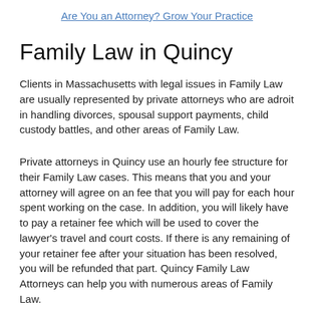Are You an Attorney? Grow Your Practice
Family Law in Quincy
Clients in Massachusetts with legal issues in Family Law are usually represented by private attorneys who are adroit in handling divorces, spousal support payments, child custody battles, and other areas of Family Law.
Private attorneys in Quincy use an hourly fee structure for their Family Law cases. This means that you and your attorney will agree on an fee that you will pay for each hour spent working on the case. In addition, you will likely have to pay a retainer fee which will be used to cover the lawyer's travel and court costs. If there is any remaining of your retainer fee after your situation has been resolved, you will be refunded that part. Quincy Family Law Attorneys can help you with numerous areas of Family Law.